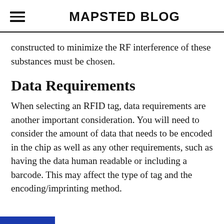MAPSTED BLOG
constructed to minimize the RF interference of these substances must be chosen.
Data Requirements
When selecting an RFID tag, data requirements are another important consideration. You will need to consider the amount of data that needs to be encoded in the chip as well as any other requirements, such as having the data human readable or including a barcode. This may affect the type of tag and the encoding/imprinting method.